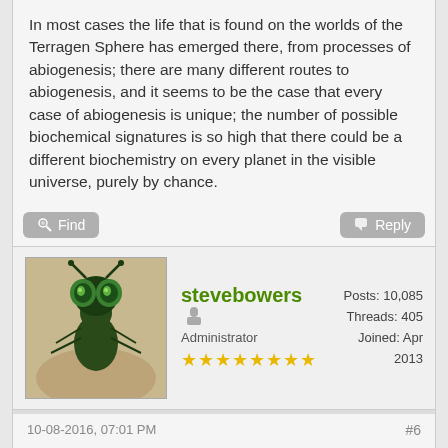In most cases the life that is found on the worlds of the Terragen Sphere has emerged there, from processes of abiogenesis; there are many different routes to abiogenesis, and it seems to be the case that every case of abiogenesis is unique; the number of possible biochemical signatures is so high that there could be a different biochemistry on every planet in the visible universe, purely by chance.
stevebowers — Administrator — Posts: 10,085 — Threads: 405 — Joined: Apr 2013
10-08-2016, 07:01 PM #6
I've updated the article on Abiogenesis etc. with some links to articles written since it was first written; Macrystis and M67 for example. http://www.orionsarm.com/eg-article/48e8cb5ecb84f